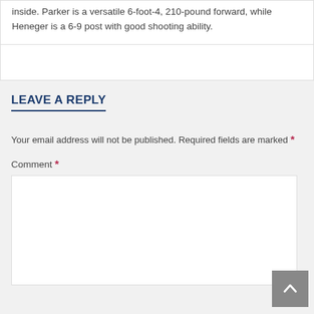inside. Parker is a versatile 6-foot-4, 210-pound forward, while Heneger is a 6-9 post with good shooting ability.
Your email address will not be published. Required fields are marked *
LEAVE A REPLY
Comment *